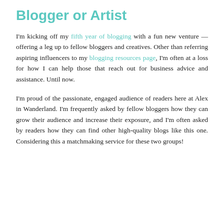Blogger or Artist
I'm kicking off my fifth year of blogging with a fun new venture — offering a leg up to fellow bloggers and creatives. Other than referring aspiring influencers to my blogging resources page, I'm often at a loss for how I can help those that reach out for business advice and assistance. Until now.
I'm proud of the passionate, engaged audience of readers here at Alex in Wanderland. I'm frequently asked by fellow bloggers how they can grow their audience and increase their exposure, and I'm often asked by readers how they can find other high-quality blogs like this one. Considering this a matchmaking service for these two groups!